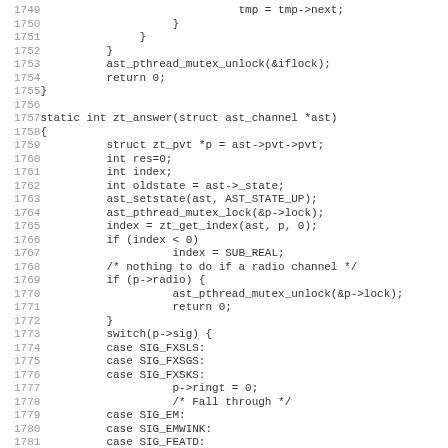[Figure (other): Source code listing in C, lines 1749-1781, showing functions including zt_answer with mutex locking, state setting, index checking, radio channel handling, and switch statement on p->sig with cases SIG_FXSLS, SIG_FXSGS, SIG_FXSKS, SIG_EM, SIG_EMWINK, SIG_FEATD]